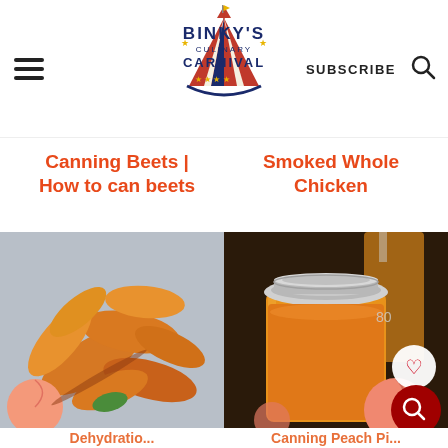Binky's Culinary Carnival — SUBSCRIBE
Canning Beets | How to can beets
Smoked Whole Chicken
[Figure (photo): Dehydrated peach slices scattered on a surface with a fresh peach]
[Figure (photo): A mason jar filled with orange peach puree surrounded by fresh peaches]
Dehydratio...
Canning Peach Pi...